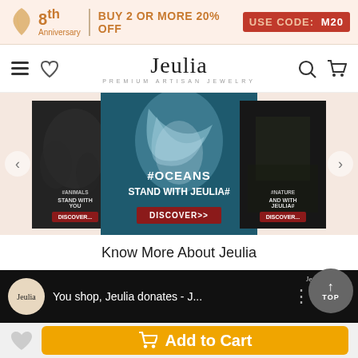8th Anniversary | BUY 2 OR MORE 20% OFF | USE CODE: M20
[Figure (screenshot): Jeulia logo navigation bar with hamburger menu, heart icon, search and cart icons]
[Figure (screenshot): Carousel with three cards: left card #ANIMALS STAND WITH YOU, center card #OCEANS STAND WITH JEULIA# with DISCOVER>> button, right card #NATURE AND WITH JEULIA#]
Know More About Jeulia
[Figure (screenshot): Video thumbnail with Jeulia logo circle, text 'You shop, Jeulia donates - J...' and menu dots. TOP button overlay visible.]
[Figure (screenshot): Add to Cart button bar with wishlist heart icon and orange Add to Cart button]